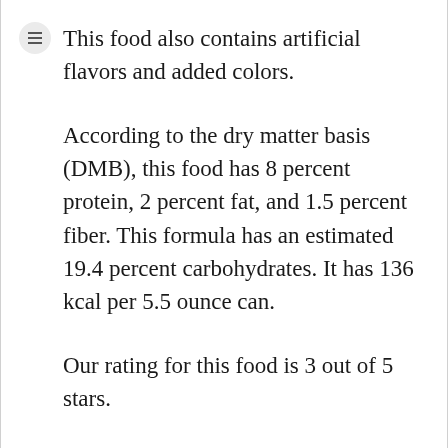This food also contains artificial flavors and added colors.
According to the dry matter basis (DMB), this food has 8 percent protein, 2 percent fat, and 1.5 percent fiber. This formula has an estimated 19.4 percent carbohydrates. It has 136 kcal per 5.5 ounce can.
Our rating for this food is 3 out of 5 stars.